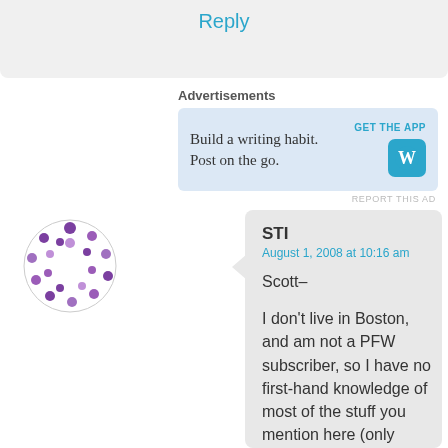Reply
Advertisements
[Figure (screenshot): WordPress advertisement: 'Build a writing habit. Post on the go.' with GET THE APP button and WordPress logo]
REPORT THIS AD
[Figure (illustration): Purple circular avatar icon with dots arranged in a circle pattern]
STI
August 1, 2008 at 10:16 am
Scott–

I don't live in Boston, and am not a PFW subscriber, so I have no first-hand knowledge of most of the stuff you mention here (only filtered knowledge via PatsFans.com and other boards).

I don't know how much involvement